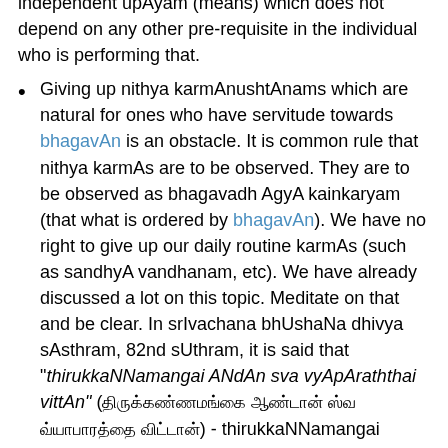independent upAyam (means) which does not depend on any other pre-requisite in the individual who is performing that.
Giving up nithya karmAnushtAnams which are natural for ones who have servitude towards bhagavAn is an obstacle. It is common rule that nithya karmAs are to be observed. They are to be observed as bhagavadh AgyA kainkaryam (that what is ordered by bhagavAn). We have no right to give up our daily routine karmAs (such as sandhyA vandhanam, etc). We have already discussed a lot on this topic. Meditate on that and be clear. In srIvachana bhUshaNa dhivya sAsthram, 82nd sUthram, it is said that "thirukkaNNamangai ANdAn sva vyApAraththai vittAn" (திருக்கண்ணமங்கை ஆண்டான் ஸ்வ வ்யாபாரத்தை விட்டான்) - thirukkaNNamangai ANdAn gave up all his personal activities. He was situated at the top of mahA visvAsam (total faith) and thus gave up all self-efforts. In upadhEsa raththina mAlai pAsuram 55, mAmunigaL explains that "ellArkkum aNdAthathanRO athu" (எல்லாருக்கும் அந்தாதனரோ அது) - the principles explained in srIvachana bhUshaNa dhivya